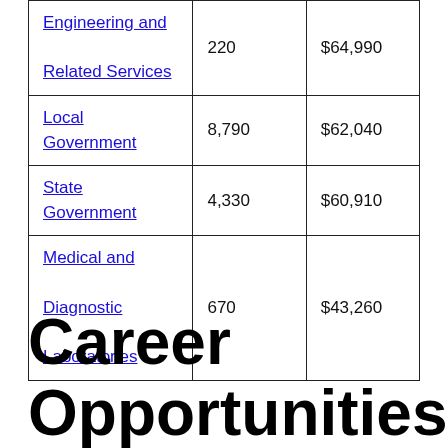| Engineering and Related Services | 220 | $64,990 |
| Local Government | 8,790 | $62,040 |
| State Government | 4,330 | $60,910 |
| Medical and Diagnostic Laboratories | 670 | $43,260 |
Career Opportunities